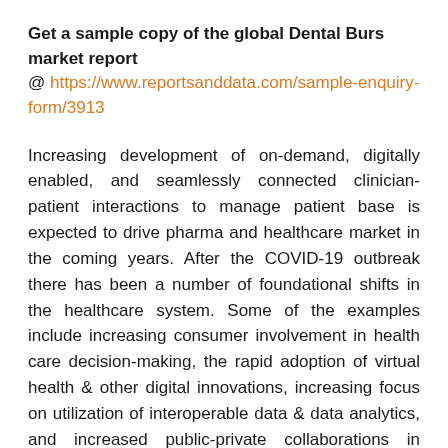Get a sample copy of the global Dental Burs market report @ https://www.reportsanddata.com/sample-enquiry-form/3913
Increasing development of on-demand, digitally enabled, and seamlessly connected clinician-patient interactions to manage patient base is expected to drive pharma and healthcare market in the coming years. After the COVID-19 outbreak there has been a number of foundational shifts in the healthcare system. Some of the examples include increasing consumer involvement in health care decision-making, the rapid adoption of virtual health & other digital innovations, increasing focus on utilization of interoperable data & data analytics, and increased public-private collaborations in therapeutics and vaccine development. The increased public-private collaborations for vaccine development has arisen due to high pressure of regional